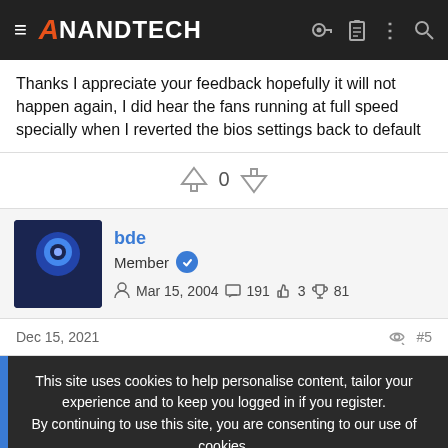AnandTech
Thanks I appreciate your feedback hopefully it will not happen again, I did hear the fans running at full speed specially when I reverted the bios settings back to default
0 (vote count)
bde
Member
Mar 15, 2004   191   3   81
Dec 15, 2021   #5
This site uses cookies to help personalise content, tailor your experience and to keep you logged in if you register.
By continuing to use this site, you are consenting to our use of cookies.